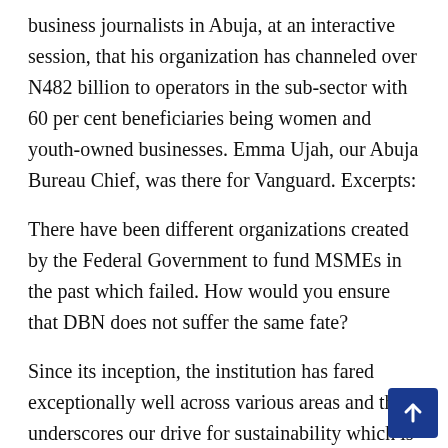business journalists in Abuja, at an interactive session, that his organization has channeled over N482 billion to operators in the sub-sector with 60 per cent beneficiaries being women and youth-owned businesses. Emma Ujah, our Abuja Bureau Chief, was there for Vanguard. Excerpts:
There have been different organizations created by the Federal Government to fund MSMEs in the past which failed. How would you ensure that DBN does not suffer the same fate?
Since its inception, the institution has fared exceptionally well across various areas and this underscores our drive for sustainability which is one of our core values. For us, this means that while we are in business to provide financing support for MSMEs, we strive to be financially sustainabl